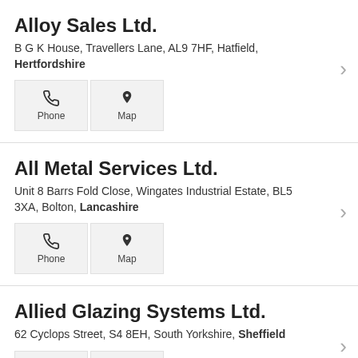Alloy Sales Ltd.
B G K House, Travellers Lane, AL9 7HF, Hatfield, Hertfordshire
All Metal Services Ltd.
Unit 8 Barrs Fold Close, Wingates Industrial Estate, BL5 3XA, Bolton, Lancashire
Allied Glazing Systems Ltd.
62 Cyclops Street, S4 8EH, South Yorkshire, Sheffield